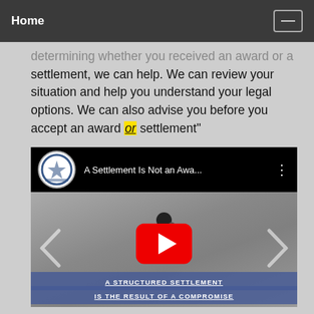Home
determining whether you received an award or a settlement, we can help. We can review your situation and help you understand your legal options. We can also advise you before you accept an award or settlement"
[Figure (screenshot): YouTube video thumbnail titled 'A Settlement Is Not an Awa...' showing a man in a suit standing at a crossroads with a red YouTube play button overlay. Bottom captions read 'A STRUCTURED SETTLEMENT' and 'IS THE RESULT OF A COMPROMISE'.]